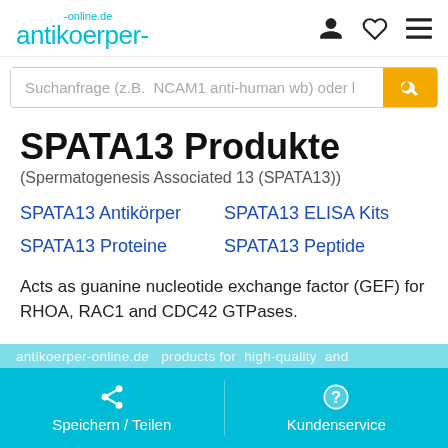antikoerper-online.de
[Figure (screenshot): Search bar with placeholder text 'Suchanfrage (z.B.  NCAM1 anti-human wb) oder I' and yellow search button]
SPATA13 Produkte
(Spermatogenesis Associated 13 (SPATA13))
SPATA13 Antikörper
SPATA13 ELISA Kits
SPATA13 Proteine
SPATA13 Peptide
Acts as guanine nucleotide exchange factor (GEF) for RHOA, RAC1 and CDC42 GTPases.
Speichern / Teilen    Kundenservice